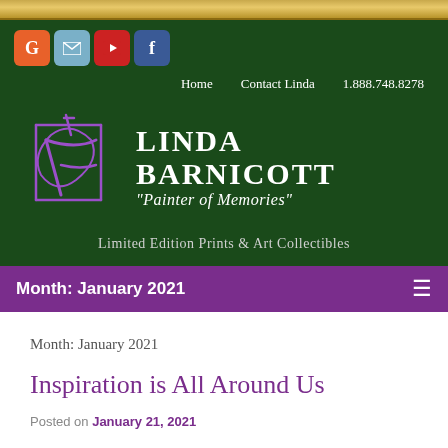[Figure (logo): Gold decorative border at top of page]
[Figure (logo): Social media icons: Google (G), Email, YouTube, Facebook]
Home   Contact Linda   1.888.748.8278
[Figure (logo): Linda Barnicott logo with purple stylized artist monogram, text: LINDA BARNICOTT "Painter of Memories" Limited Edition Prints & Art Collectibles]
Month: January 2021
Month: January 2021
Inspiration is All Around Us
Posted on January 21, 2021